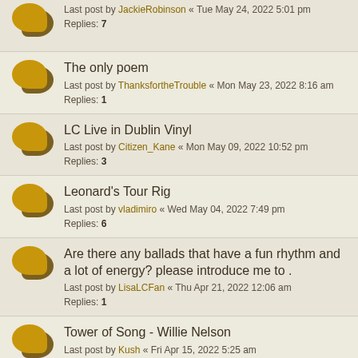Last post by JackieRobinson « Tue May 24, 2022 5:01 pm
Replies: 7
The only poem
Last post by ThanksfortheTrouble « Mon May 23, 2022 8:16 am
Replies: 1
LC Live in Dublin Vinyl
Last post by Citizen_Kane « Mon May 09, 2022 10:52 pm
Replies: 3
Leonard's Tour Rig
Last post by vladimiro « Wed May 04, 2022 7:49 pm
Replies: 6
Are there any ballads that have a fun rhythm and a lot of energy? please introduce me to .
Last post by LisaLCFan « Thu Apr 21, 2022 12:06 am
Replies: 1
Tower of Song - Willie Nelson
Last post by Kush « Fri Apr 15, 2022 5:25 am
Official Music Videos
Last post by alanwort « Thu Apr 14, 2022 11:06 pm
Leonard cohen : sincerely a friend 1972 2LP